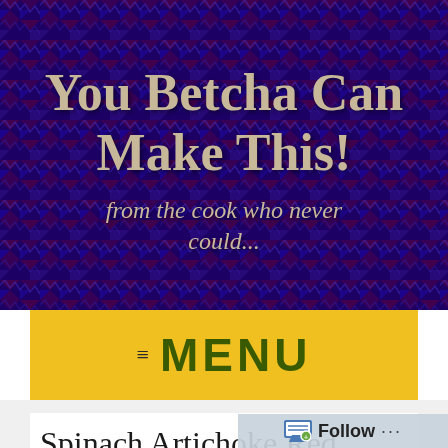[Figure (illustration): Dark blue, purple, and red textured houndstooth/zigzag pattern background for a cooking blog header]
You Betcha Can Make This!
from the cook who never could...
≡ MENU
Spinach Artichoke Red
Follow ...